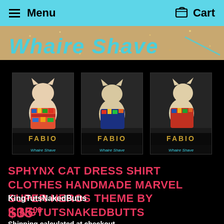Menu  Cart
[Figure (photo): Banner with cursive blue text reading 'Whaire Shave' on a golden/sandy glittery background]
[Figure (photo): Three product photos side by side of a Sphynx cat wearing a handmade Marvel Super Heroes theme dress shirt, with 'FABIO Whaire Shave' text overlay on each image, dark brick wall background]
SPHYNX CAT DRESS SHIRT CLOTHES HANDMADE MARVEL SUPER HEROS THEME BY KINGTUTSNAKEDBUTTS
KingTutsNakedButts
$3500
Shipping calculated at checkout.